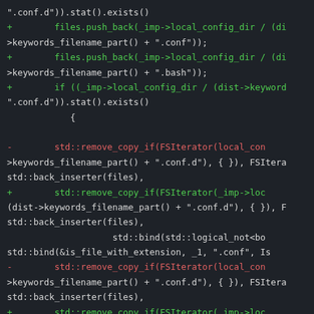[Figure (screenshot): Source code diff showing C++ code with added (+) lines in green and removed (-) lines in red, on a dark background. The code involves file system operations, push_back calls, FSIterator usage, remove_copy_if, back_inserter, and std::bind with logical_not.]